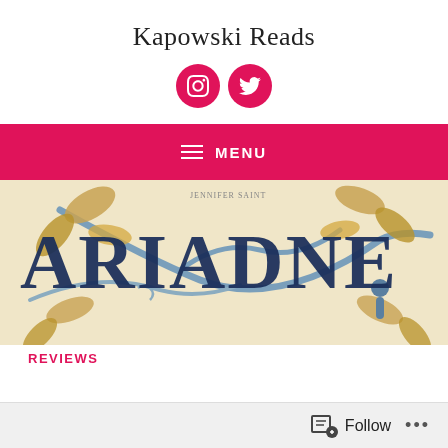Kapowski Reads
[Figure (logo): Instagram icon (pink circle with white Instagram camera icon) and Twitter icon (pink circle with white bird icon)]
≡ MENU
[Figure (photo): Book cover of 'Ariadne' — large dark blue serif text 'ARIADNE' overlaid on a decorative background of golden/tan leaves and blue vine branches; a small blue silhouette figure is visible on the right side]
REVIEWS
Follow ...